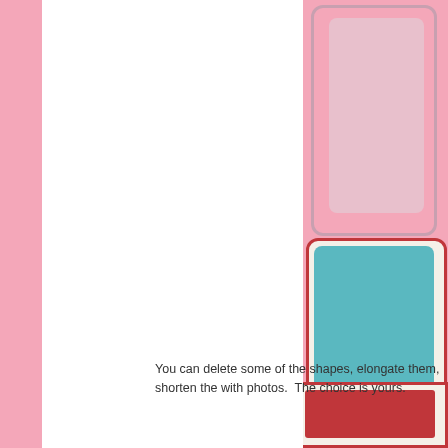[Figure (illustration): Right panel showing decorative scrapbook/card elements: a pink rounded rectangle card at top, a teal/turquoise rounded rectangle card below with a cupcake celebration illustration partially visible, and a partial view of a red-bordered card at the bottom right.]
You can delete some of the shapes, elongate them, shorten the with photos.  The choice is yours.